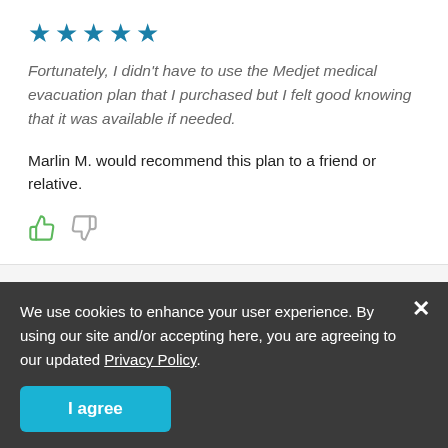[Figure (other): Five filled blue stars rating]
Fortunately, I didn't have to use the Medjet medical evacuation plan that I purchased but I felt good knowing that it was available if needed.
Marlin M. would recommend this plan to a friend or relative.
[Figure (other): Thumbs up and thumbs down icons]
Coverage ★★★★★
Value ★★★★★
We use cookies to enhance your user experience. By using our site and/or accepting here, you are agreeing to our updated Privacy Policy.
I agree